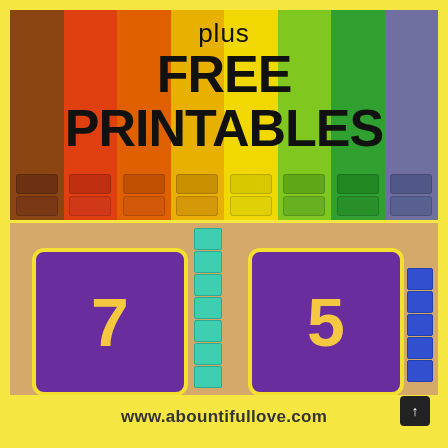[Figure (photo): Rainbow-colored counting blocks/tiles arranged in columns (brown, red, orange, yellow, light yellow, light green, dark green, gray-blue) filling the upper portion of the image]
plus FREE PRINTABLES
[Figure (photo): Wooden table surface with two purple number cards (7 and 5) with yellow borders and star patterns, a teal counting rod of 7 segments next to card 7, and a blue counting rod of 5 segments next to card 5]
www.abountifullove.com